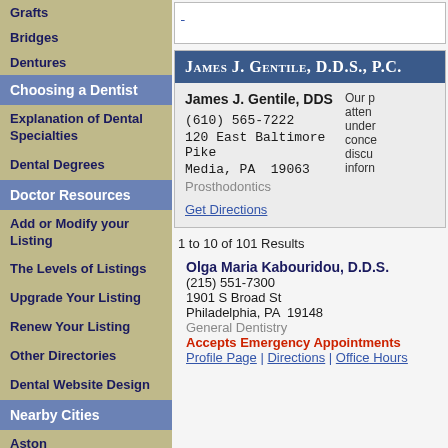Grafts
Bridges
Dentures
Choosing a Dentist
Explanation of Dental Specialties
Dental Degrees
Doctor Resources
Add or Modify your Listing
The Levels of Listings
Upgrade Your Listing
Renew Your Listing
Other Directories
Dental Website Design
Nearby Cities
Aston
James J. Gentile, D.D.S., P.C.
James J. Gentile, DDS
(610) 565-7222
120 East Baltimore Pike
Media, PA  19063
Prosthodontics
Get Directions
Our p... attend... under... conce... discus... inform...
1 to 10 of 101 Results
Olga Maria Kabouridou, D.D.S.
(215) 551-7300
1901 S Broad St
Philadelphia, PA  19148
General Dentistry
Accepts Emergency Appointments
Profile Page | Directions | Office Hours